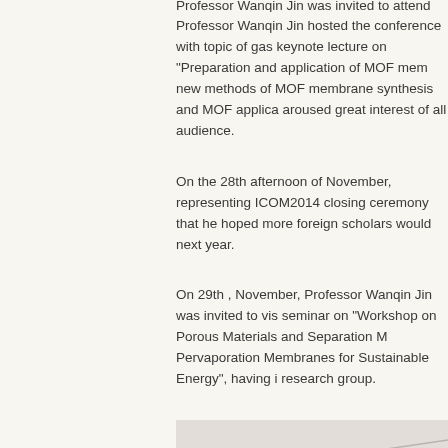Professor Wanqin Jin was invited to attend the 8th IMSTEC b...
Professor Wanqin Jin hosted the conference with topic of gas keynote lecture on "Preparation and application of MOF mem new methods of MOF membrane synthesis and MOF applica aroused great interest of all audience.
On the 28th afternoon of November, representing ICOM2014 closing ceremony that he hoped more foreign scholars would next year.
On 29th , November, Professor Wanqin Jin was invited to vis seminar on "Workshop on Porous Materials and Separation M Pervaporation Membranes for Sustainable Energy", having i research group.
[Figure (photo): A photograph showing what appears to be a ceiling or interior architectural element, partially cropped on the right side of the page.]